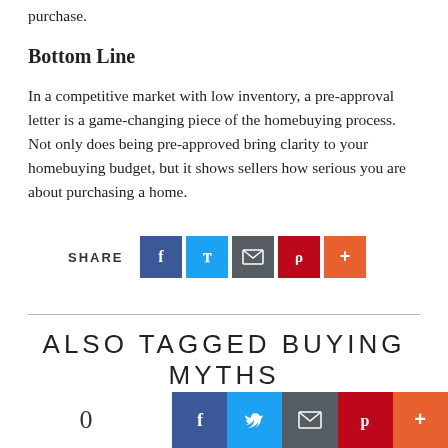purchase.
Bottom Line
In a competitive market with low inventory, a pre-approval letter is a game-changing piece of the homebuying process. Not only does being pre-approved bring clarity to your homebuying budget, but it shows sellers how serious you are about purchasing a home.
[Figure (infographic): Social share bar with SHARE label and five colored icon buttons: Facebook (blue), Twitter (light blue), Email/envelope (dark gray), Pinterest (dark red), More/plus (orange-red)]
ALSO TAGGED BUYING MYTHS
[Figure (infographic): Bottom floating share bar with count '0' and five colored social icon buttons: Facebook, Twitter, Email, Pinterest, More]